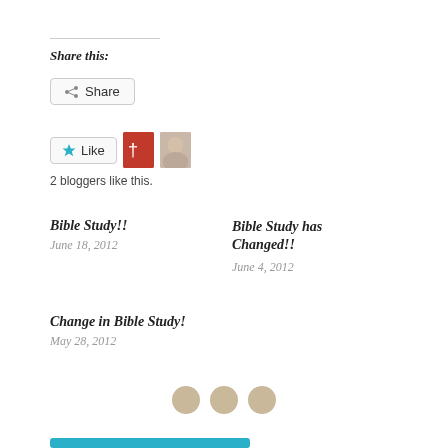Share this:
Share (button)
[Figure (other): Like button with star icon and two blogger avatars]
2 bloggers like this.
Bible Study!!
June 18, 2012
Bible Study has Changed!!
June 4, 2012
Change in Bible Study!
May 28, 2012
[Figure (other): Three decorative tan/beige circles as a divider]
[Figure (other): Teal horizontal bar at bottom of page]